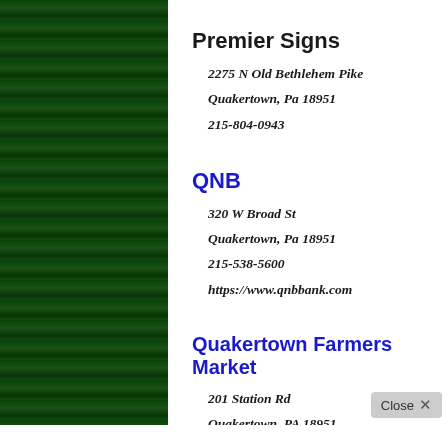[Figure (illustration): Dark green grass/foliage textured sidebar on the left side of the page]
Premier Signs
2275 N Old Bethlehem Pike
Quakertown, Pa 18951
215-804-0943
QNB
320 W Broad St
Quakertown, Pa 18951
215-538-5600
https://www.qnbbank.com
Quakertown Farmers Market
201 Station Rd
Quakertown, PA 18951